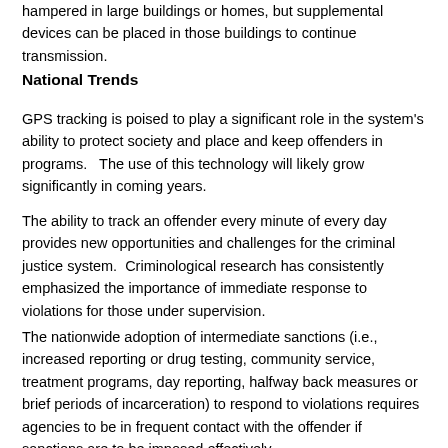hampered in large buildings or homes, but supplemental devices can be placed in those buildings to continue transmission.
National Trends
GPS tracking is poised to play a significant role in the system's ability to protect society and place and keep offenders in programs.   The use of this technology will likely grow significantly in coming years.
The ability to track an offender every minute of every day provides new opportunities and challenges for the criminal justice system.  Criminological research has consistently emphasized the importance of immediate response to violations for those under supervision.
The nationwide adoption of intermediate sanctions (i.e., increased reporting or drug testing, community service, treatment programs, day reporting, halfway back measures or brief periods of incarceration) to respond to violations requires agencies to be in frequent contact with the offender if sanctions are to be imposed effectively.